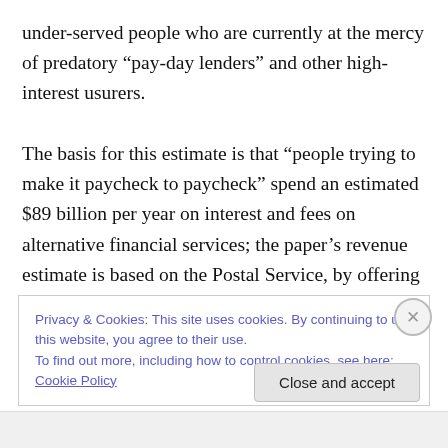under-served people who are currently at the mercy of predatory “pay-day lenders” and other high-interest usurers.

The basis for this estimate is that “people trying to make it paycheck to paycheck” spend an estimated $89 billion per year on interest and fees on alternative financial services; the paper’s revenue estimate is based on the Postal Service, by offering low-cost services, capturing 10 percent of what is currently spent on those businesses. But the Postal Service inspector general’s office went out
Privacy & Cookies: This site uses cookies. By continuing to use this website, you agree to their use.
To find out more, including how to control cookies, see here: Cookie Policy
Close and accept